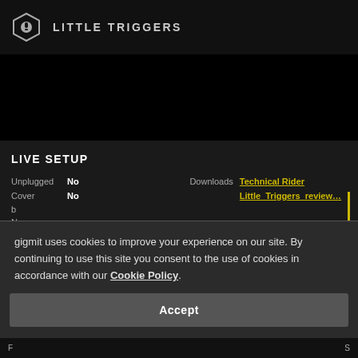LITTLE TRIGGERS
[Figure (screenshot): Black video player area]
LIVE SETUP
| Field | Value |
| --- | --- |
| Unplugged | No |
| Downloads | Technical Rider |
| Cover | No |
|  | Little_Triggers_review... |
gigmit uses cookies to improve your experience on our site. By continuing to use this site you consent to the use of cookies in accordance with our Cookie Policy.
Accept